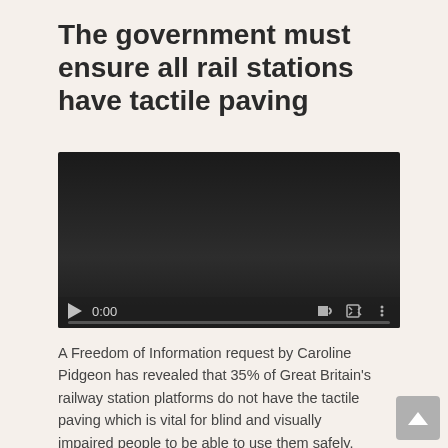The government must ensure all rail stations have tactile paving
[Figure (screenshot): Video player with black background, play button, time display showing 0:00, speaker icon, fullscreen icon, and options icon. Progress bar at bottom.]
A Freedom of Information request by Caroline Pidgeon has revealed that 35% of Great Britain's railway station platforms do not have the tactile paving which is vital for blind and visually impaired people to be able to use them safely.